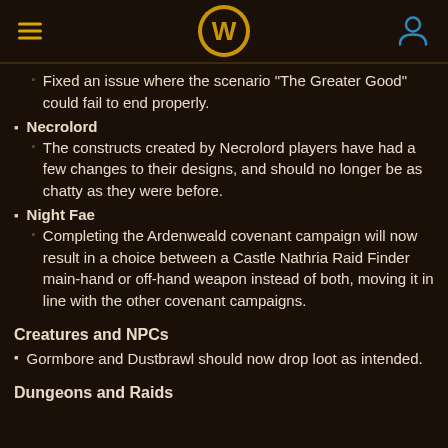World of Warcraft header navigation
Fixed an issue where the scenario "The Greater Good" could fail to end properly.
Necrolord
The constructs created by Necrolord players have had a few changes to their designs, and should no longer be as chatty as they were before.
Night Fae
Completing the Ardenweald covenant campaign will now result in a choice between a Castle Nathria Raid Finder main-hand or off-hand weapon instead of both, moving it in line with the other covenant campaigns.
Creatures and NPCs
Gormbore and Dustbrawl should now drop loot as intended.
Dungeons and Raids